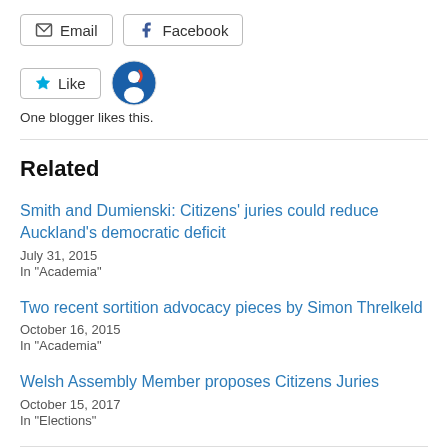[Figure (other): Email and Facebook share buttons]
[Figure (other): Like button with star icon, and a circular avatar logo]
One blogger likes this.
Related
Smith and Dumienski: Citizens' juries could reduce Auckland's democratic deficit
July 31, 2015
In "Academia"
Two recent sortition advocacy pieces by Simon Threlkeld
October 16, 2015
In "Academia"
Welsh Assembly Member proposes Citizens Juries
October 15, 2017
In "Elections"